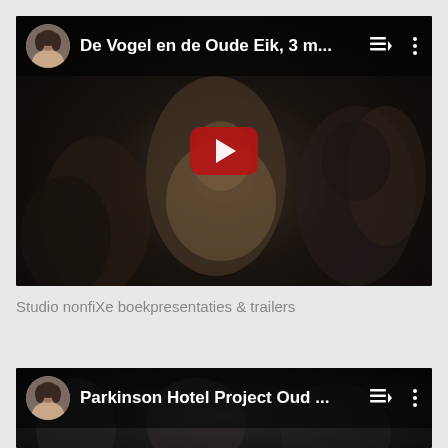[Figure (screenshot): YouTube video thumbnail showing dark scene of people in a room. Top bar shows avatar of a woman, title 'De Vogel en de Oude Eik, 3 m...', playlist queue icon, and three-dot menu. Large red YouTube play button in center.]
Studio nonfiXe boekpresentaties & trailers
[Figure (screenshot): YouTube video thumbnail showing dark scene. Top bar shows avatar of a woman, title 'Parkinson Hotel Project Oud ...', playlist queue icon, and three-dot menu.]